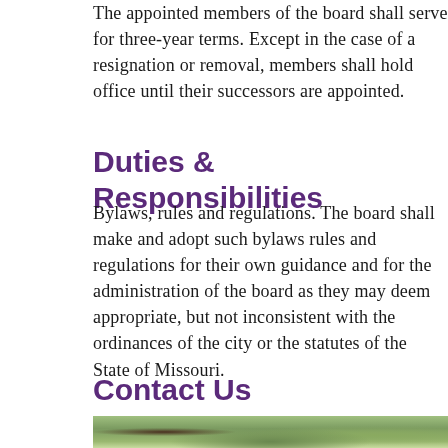The appointed members of the board shall serve for three-year terms. Except in the case of a resignation or removal, members shall hold office until their successors are appointed.
Duties & Responsibilities
Bylaws, rules and regulations. The board shall make and adopt such bylaws rules and regulations for their own guidance and for the administration of the board as they may deem appropriate, but not inconsistent with the ordinances of the city or the statutes of the State of Missouri.
Contact Us
[Figure (photo): Outdoor photo showing trees and green foliage, partially visible at the bottom of the page]